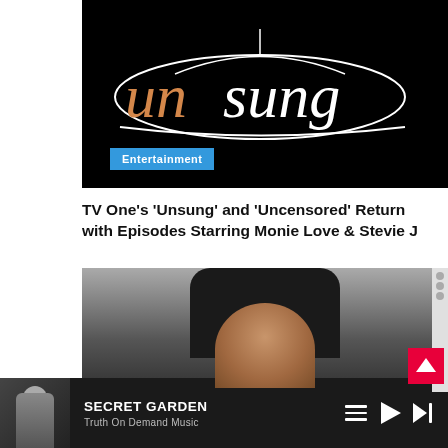[Figure (logo): Unsung TV show logo — white script text 'unsung' with orange 'un' on black background, with a decorative line forming a loop above]
Entertainment
TV One's 'Unsung' and 'Uncensored' Return with Episodes Starring Monie Love & Stevie J
[Figure (photo): Close-up photo of a Black woman with long dark hair and makeup, in front of a banner with logos]
SECRET GARDEN
Truth On Demand Music